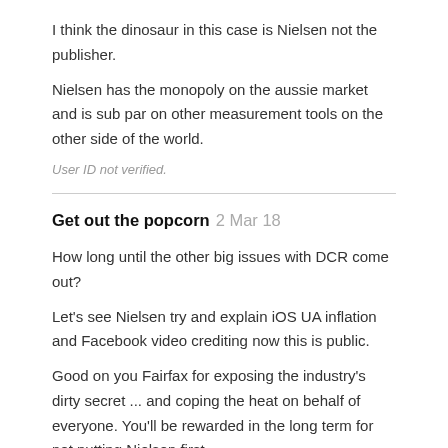I think the dinosaur in this case is Nielsen not the publisher.
Nielsen has the monopoly on the aussie market and is sub par on other measurement tools on the other side of the world.
User ID not verified.
Get out the popcorn 2 Mar 18
How long until the other big issues with DCR come out?
Let's see Nielsen try and explain iOS UA inflation and Facebook video crediting now this is public.
Good on you Fairfax for exposing the industry's dirty secret ... and coping the heat on behalf of everyone. You'll be rewarded in the long term for not putting Nielsen first.